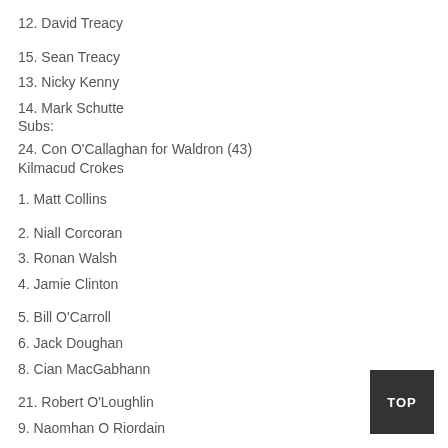12. David Treacy
15. Sean Treacy
13. Nicky Kenny
14. Mark Schutte
Subs:
24. Con O'Callaghan for Waldron (43)
Kilmacud Crokes
1. Matt Collins
2. Niall Corcoran
3. Ronan Walsh
4. Jamie Clinton
5. Bill O'Carroll
6. Jack Doughan
8. Cian MacGabhann
21. Robert O'Loughlin
9. Naomhan O Riordain